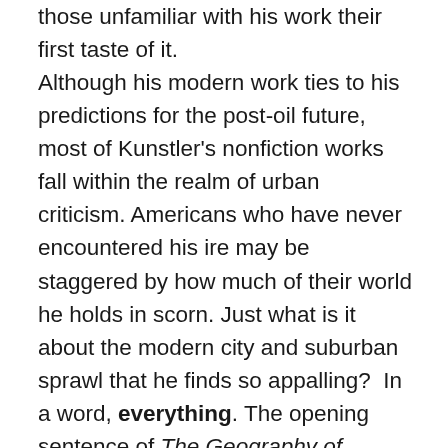those unfamiliar with his work their first taste of it. Although his modern work ties to his predictions for the post-oil future, most of Kunstler's nonfiction works fall within the realm of urban criticism. Americans who have never encountered his ire may be staggered by how much of their world he holds in scorn. Just what is it about the modern city and suburban sprawl that he finds so appalling?  In a word, everything. The opening sentence of The Geography of Nowhere, in which Kunstler attempts to summarize why he wrote the book, is a paragraph long.  The growth of American cities and later,  the 'edge' cities that grew out of suburbian sprawl, has centered on the automobile, and the result is the decline of public transit like rail lines in favor of highways — infrastructure built on the promise of cheap gasoline, and frightfully ugly to behold. Its decentralization destroys the integrity of human communities and is in part responsible for the rising